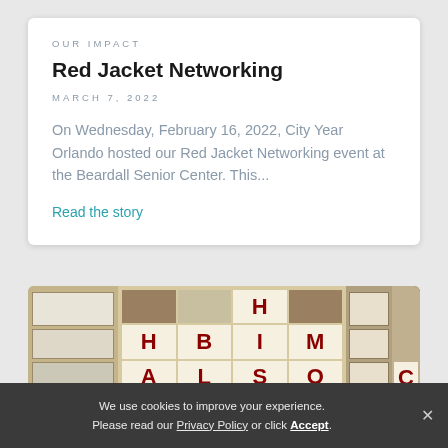OUR IMPACT
Red Jacket Networking
MARCH 7, 2022
On Wednesday, February 16, 2022, City Year Orlando hosted our Red Jacket Networking event at the Beardall Senior Center. This...
Read the story
[Figure (photo): Indoor display wall with framed documents and large red block letters arranged in a grid pattern, including letters H, B, I, M, H, A, S, O, C visible on white tiles against a tan/beige background.]
We use cookies to improve your experience. Please read our Privacy Policy or click Accept.